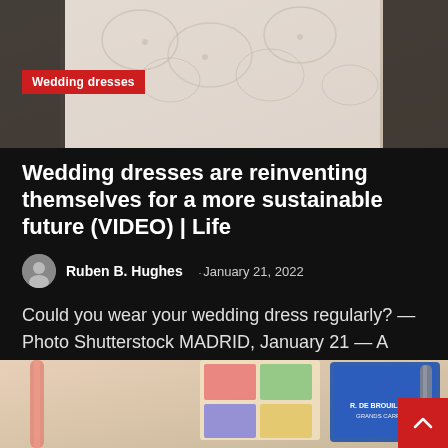[Figure (photo): Close-up photo of white lace wedding dress fabric]
Wedding dresses
Wedding dresses are reinventing themselves for a more sustainable future (VIDEO) | Life
Ruben B. Hughes  · January 21, 2022
Could you wear your wedding dress regularly? — Photo Shutterstock MADRID, January 21 — A wedding dress…
Read More
[Figure (photo): Flat lay photo showing notebooks, pens, candy and other accessories on a white surface]